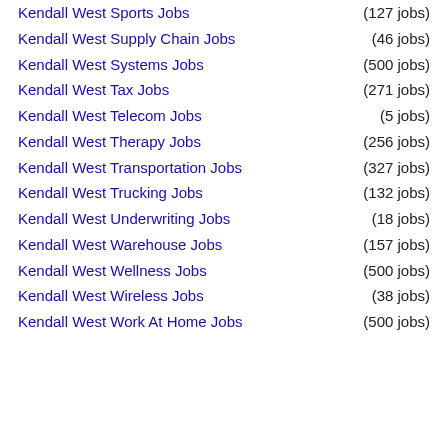Kendall West Sports Jobs (127 jobs)
Kendall West Supply Chain Jobs (46 jobs)
Kendall West Systems Jobs (500 jobs)
Kendall West Tax Jobs (271 jobs)
Kendall West Telecom Jobs (5 jobs)
Kendall West Therapy Jobs (256 jobs)
Kendall West Transportation Jobs (327 jobs)
Kendall West Trucking Jobs (132 jobs)
Kendall West Underwriting Jobs (18 jobs)
Kendall West Warehouse Jobs (157 jobs)
Kendall West Wellness Jobs (500 jobs)
Kendall West Wireless Jobs (38 jobs)
Kendall West Work At Home Jobs (500 jobs)